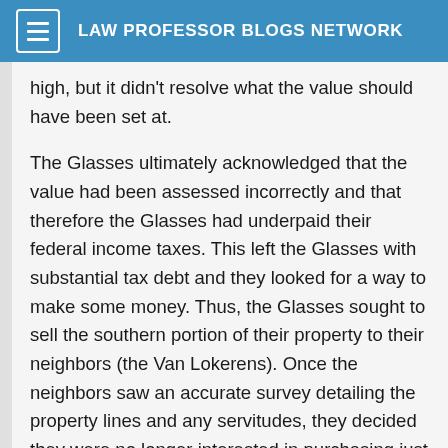LAW PROFESSOR BLOGS NETWORK
high, but it didn't resolve what the value should have been set at.
The Glasses ultimately acknowledged that the value had been assessed incorrectly and that therefore the Glasses had underpaid their federal income taxes. This left the Glasses with substantial tax debt and they looked for a way to make some money. Thus, the Glasses sought to sell the southern portion of their property to their neighbors (the Van Lokerens). Once the neighbors saw an accurate survey detailing the property lines and any servitudes, they decided they were no longer interested in purchasing just the southern portion but indicated that they might consider buying the entire 10 acres. The Glasses then listed just the southern parcel for sale.